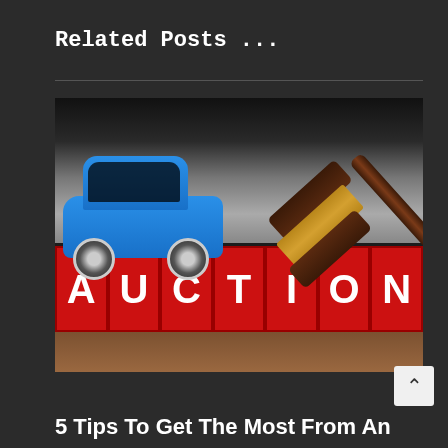Related Posts ...
[Figure (photo): Photo of a toy blue car and auction gavel above red letter blocks spelling AUCTION]
5 Tips To Get The Most From An